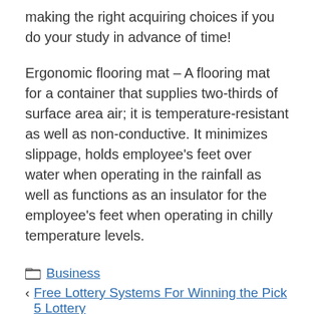making the right acquiring choices if you do your study in advance of time!
Ergonomic flooring mat – A flooring mat for a container that supplies two-thirds of surface area air; it is temperature-resistant as well as non-conductive. It minimizes slippage, holds employee's feet over water when operating in the rainfall as well as functions as an insulator for the employee's feet when operating in chilly temperature levels.
Business
Free Lottery Systems For Winning the Pick 5 Lottery
Secrets to Win the Lottery – Good Lottery